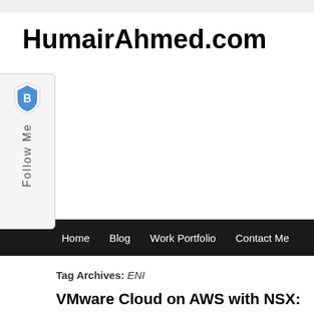HumairAhmed.com
[Figure (logo): Brave browser Follow Me sidebar widget with shield logo and vertical 'Follow Me' text]
Home   Blog   Work Portfolio   Contact Me
Tag Archives: ENI
VMware Cloud on AWS with NSX: Commu... AWS Resources
Posted on January 5, 2018 by Humair